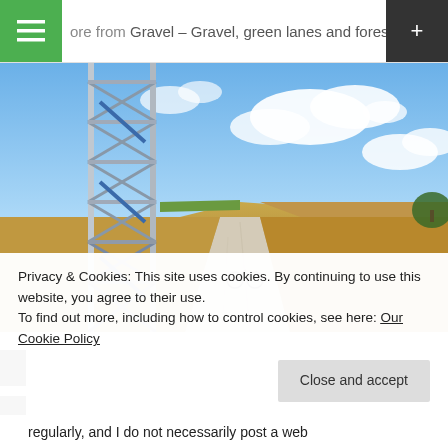More from Gravel – Gravel, green lanes and forest W…
[Figure (photo): A gravel country lane stretching into the distance between harvested fields under a blue sky with white clouds. A steel lattice transmission tower stands on the left. A bicycle lies on the gravel track in the middle distance.]
Privacy & Cookies: This site uses cookies. By continuing to use this website, you agree to their use.
To find out more, including how to control cookies, see here: Our Cookie Policy
Close and accept
regularly, and I do not necessarily post a web